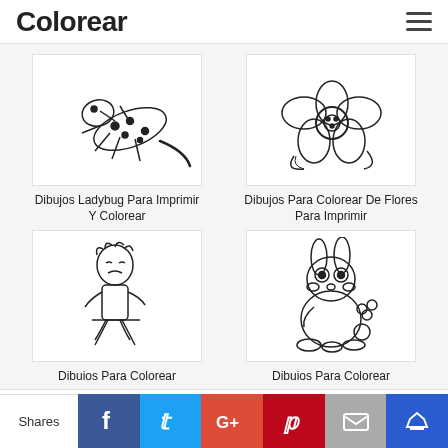Colorear
[Figure (illustration): Coloring page of a ladybug character (Miraculous Ladybug) crawling, with spots]
Dibujos Ladybug Para Imprimir Y Colorear
[Figure (illustration): Coloring page of a flower with petals and leaves]
Dibujos Para Colorear De Flores Para Imprimir
[Figure (illustration): Coloring page of a sad boy sitting on a chair]
Dibujos Para Colorear
[Figure (illustration): Coloring page of Thumper the rabbit holding flowers]
Dibujos Para Colorear
This website uses cookies to improve your experience. We'll assume you're ok with this, but you can opt-out if you wish.
Shares | Facebook | Twitter | Google+ | Pinterest | Email | Crown